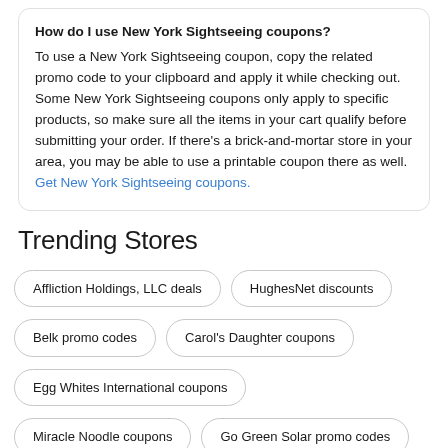How do I use New York Sightseeing coupons?
To use a New York Sightseeing coupon, copy the related promo code to your clipboard and apply it while checking out. Some New York Sightseeing coupons only apply to specific products, so make sure all the items in your cart qualify before submitting your order. If there's a brick-and-mortar store in your area, you may be able to use a printable coupon there as well. Get New York Sightseeing coupons.
Trending Stores
Affliction Holdings, LLC deals
HughesNet discounts
Belk promo codes
Carol's Daughter coupons
Egg Whites International coupons
Miracle Noodle coupons
Go Green Solar promo codes